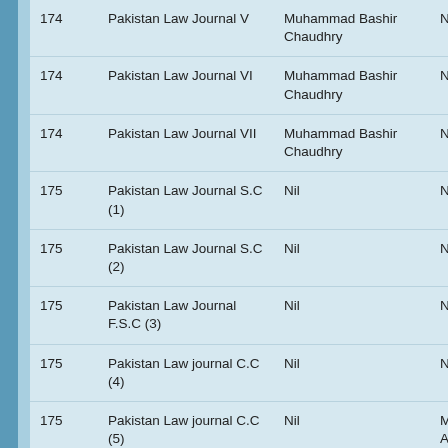| No. | Title | Author | Status |
| --- | --- | --- | --- |
| 174 | Pakistan Law Journal V | Muhammad Bashir Chaudhry | Nil |
| 174 | Pakistan Law Journal VI | Muhammad Bashir Chaudhry | Nil |
| 174 | Pakistan Law Journal VII | Muhammad Bashir Chaudhry | Nil |
| 175 | Pakistan Law Journal S.C (1) | Nil | Nil |
| 175 | Pakistan Law Journal S.C (2) | Nil | Nil |
| 175 | Pakistan Law Journal F.S.C (3) | Nil | Nil |
| 175 | Pakistan Law journal C.C (4) | Nil | Nil |
| 175 | Pakistan Law journal C.C (5) | Nil | Muhammad Ali Bhatt |